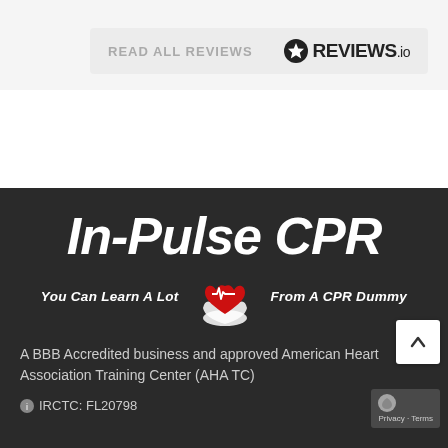READ ALL REVIEWS
[Figure (logo): REVIEWS.io logo with star icon]
[Figure (logo): In-Pulse CPR logo with tagline 'You Can Learn A Lot From A CPR Dummy' and heart with hands graphic]
A BBB Accredited business and approved American Heart Association Training Center (AHA TC)
IRCTC: FL20798